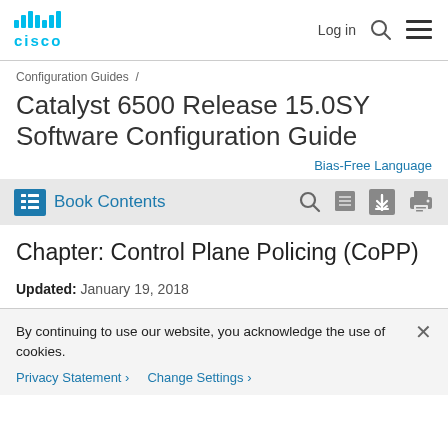Cisco | Log in | Search | Menu
Configuration Guides /
Catalyst 6500 Release 15.0SY Software Configuration Guide
Bias-Free Language
Book Contents
Chapter: Control Plane Policing (CoPP)
Updated: January 19, 2018
By continuing to use our website, you acknowledge the use of cookies.
Privacy Statement > Change Settings >